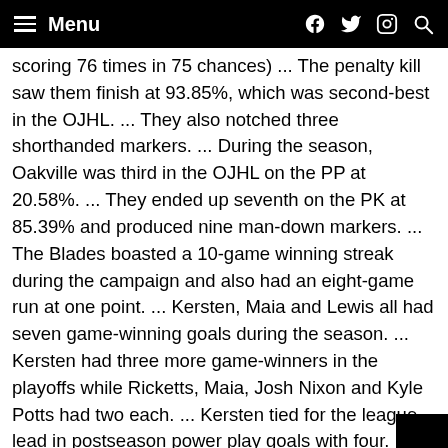Menu
scoring 76 times in 75 chances) ... The penalty kill saw them finish at 93.85%, which was second-best in the OJHL. ... They also notched three shorthanded markers. ... During the season, Oakville was third in the OJHL on the PP at 20.58%. ... They ended up seventh on the PK at 85.39% and produced nine man-down markers. ... The Blades boasted a 10-game winning streak during the campaign and also had an eight-game run at one point. ... Kersten, Maia and Lewis all had seven game-winning goals during the season. ... Kersten had three more game-winners in the playoffs while Ricketts, Maia, Josh Nixon and Kyle Potts had two each. ... Kersten tied for the league-lead in postseason power play goals with four. ... Peyton Reeves led the Blades in power play goals during the year with eight. ... Harrison Israels and Potts were next with seven each. ... Oakville has won their previous two Dudley-Hewitt Cup appearances back in 2010 and 2008 in Newmarket, Ont. ... The Bl